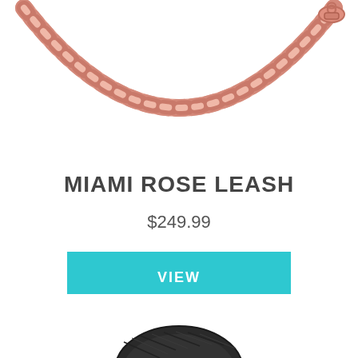[Figure (photo): Rose gold chain link leash curved in an arc shape against white background, with a lobster clasp visible on the right side]
MIAMI ROSE LEASH
$249.99
VIEW
[Figure (photo): Bottom portion of a dark charcoal/black leather or woven leash handle visible at the bottom of the page]